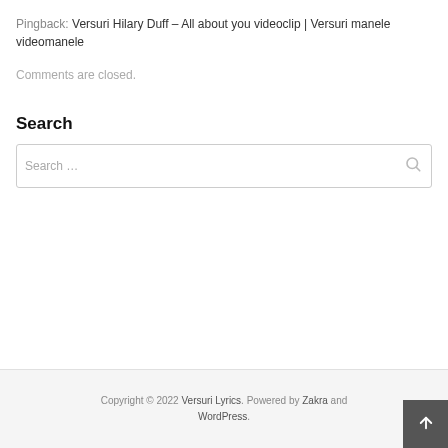Pingback: Versuri Hilary Duff – All about you videoclip | Versuri manele videomanele
Comments are closed.
Search
Search …
Copyright © 2022 Versuri Lyrics. Powered by Zakra and WordPress.